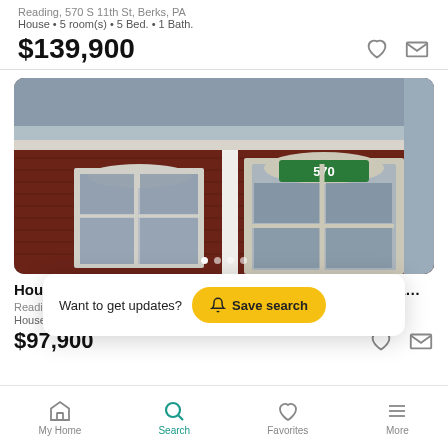Reading, 570 S 11th St, Berks, PA
House • 5 room(s) • 5 Bed. • 1 Bath.
$139,900
[Figure (photo): Exterior photo of a red brick house at 570 S 11th St showing front porch with arched windows and door]
House for sale, 570 S 11th St, Berks County, PA, in Rea…
Reading, 570…
House • 4 ro…
$97,900
Want to get updates?  Save search
My Home  Search  Favorites  More